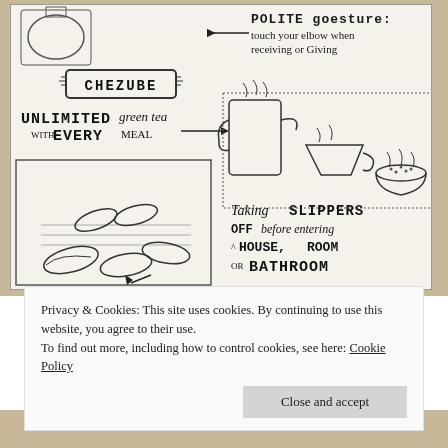[Figure (illustration): Photo of a sketchbook/notebook page with hand-drawn illustrations and lettering. Top section shows: 'POLITE goesture: touch your elbow when receiving or giving' with a banner reading 'CHEZUBE'; 'UNLIMITED green tea WITH EVERY MEAL' with arrow pointing to drawings of tea kettle, cup, and steaming bowl; a drawing of slippers outside a door with text 'Taking SLIPPERS OFF before entering a HOUSE, ROOM OR BATHROOM'.]
Privacy & Cookies: This site uses cookies. By continuing to use this website, you agree to their use.
To find out more, including how to control cookies, see here: Cookie Policy
Best of Myanmar
Close and accept
[Figure (illustration): Bottom strip showing partial view of another sketchbook page with hand-drawn letters visible at the bottom edge.]